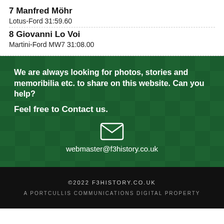7 Manfred Möhr
Lotus-Ford 31:59.60
8 Giovanni Lo Voi
Martini-Ford MW7 31:08.00
We are always looking for photos, stories and memoribilia etc. to share on this website. Can you help?
Feel free to Contact us.
[Figure (illustration): Email envelope icon centered on dark green checkered background]
webmaster@f3history.co.uk
©2022 F3HISTORY.CO.UK
A PORTCULLIS COMMUNICATIONS DIGITAL PROPERTY